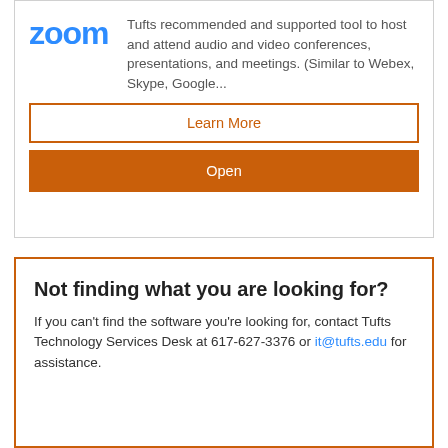[Figure (logo): Zoom logo in blue text]
Tufts recommended and supported tool to host and attend audio and video conferences, presentations, and meetings. (Similar to Webex, Skype, Google...
Learn More
Open
Not finding what you are looking for?
If you can't find the software you're looking for, contact Tufts Technology Services Desk at 617-627-3376 or it@tufts.edu for assistance.